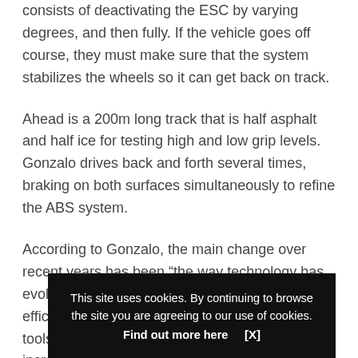consists of deactivating the ESC by varying degrees, and then fully. If the vehicle goes off course, they must make sure that the system stabilizes the wheels so it can get back on track.
Ahead is a 200m long track that is half asphalt and half ice for testing high and low grip levels. Gonzalo drives back and forth several times, braking on both surfaces simultaneously to refine the ABS system.
According to Gonzalo, the main change over recent years has been “the way technology has evolved. It has made a difference in both the efficiency of the vehicle’s systems as in the work tools that are available to us, which are increasingly powerful and fast.” Wh[...] recorded[...] be requi[...]
This site uses cookies. By continuing to browse the site you are agreeing to our use of cookies. Find out more here    [X]